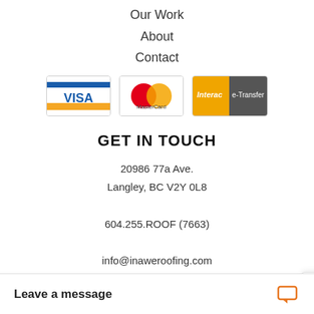Our Work
About
Contact
[Figure (logo): Payment method logos: VISA, MasterCard, Interac e-Transfer]
GET IN TOUCH
20986 77a Ave.
Langley, BC V2Y 0L8
604.255.ROOF (7663)
info@inaweroofing.com
[Figure (illustration): Social media icons: Facebook, Twitter, YouTube, Instagram, RSS]
Leave a message